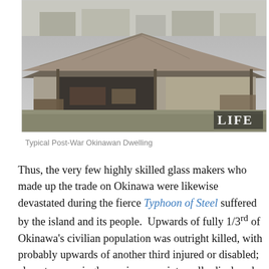[Figure (photo): Black and white photograph of a typical post-war Okinawan dwelling — a thatched-roof structure with an open front porch area, surrounded by grassland and other village buildings in the background. A LIFE magazine watermark appears in the bottom-right corner.]
Typical Post-War Okinawan Dwelling
Thus, the very few highly skilled glass makers who made up the trade on Okinawa were likewise devastated during the fierce Typhoon of Steel suffered by the island and its people.  Upwards of fully 1/3rd of Okinawa's civilian population was outright killed, with probably upwards of another third injured or disabled; almost every single survivor was internally displaced, having lost their homes